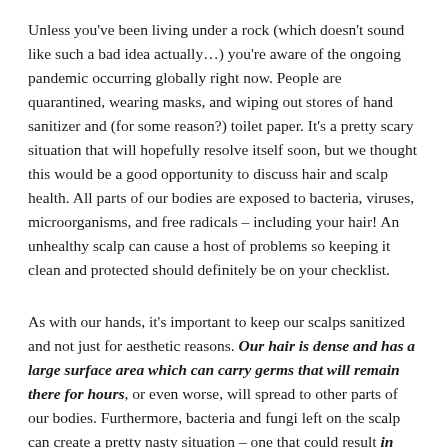Unless you've been living under a rock (which doesn't sound like such a bad idea actually…) you're aware of the ongoing pandemic occurring globally right now. People are quarantined, wearing masks, and wiping out stores of hand sanitizer and (for some reason?) toilet paper. It's a pretty scary situation that will hopefully resolve itself soon, but we thought this would be a good opportunity to discuss hair and scalp health. All parts of our bodies are exposed to bacteria, viruses, microorganisms, and free radicals – including your hair! An unhealthy scalp can cause a host of problems so keeping it clean and protected should definitely be on your checklist.
As with our hands, it's important to keep our scalps sanitized and not just for aesthetic reasons. Our hair is dense and has a large surface area which can carry germs that will remain there for hours, or even worse, will spread to other parts of our bodies. Furthermore, bacteria and fungi left on the scalp can create a pretty nasty situation – one that could result in hair loss, hair breakage, or even a serious infection.